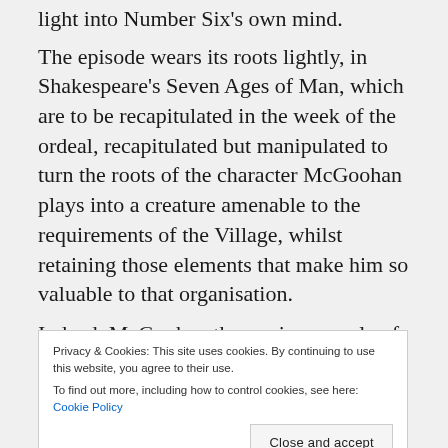light into Number Six's own mind.
The episode wears its roots lightly, in Shakespeare's Seven Ages of Man, which are to be recapitulated in the week of the ordeal, recapitulated but manipulated to turn the roots of the character McGoohan plays into a creature amenable to the requirements of the Village, whilst retaining those elements that make him so valuable to that organisation.
Indeed, McGoohan throws in a couple of autobiographical notes as part of this cascade of impressionistic moments: his own boxing training, his first job as a Bank Clerk, before he became
Privacy & Cookies: This site uses cookies. By continuing to use this website, you agree to their use.
To find out more, including how to control cookies, see here: Cookie Policy
Close and accept
It's a tight, claustrophobic sequence, for all its